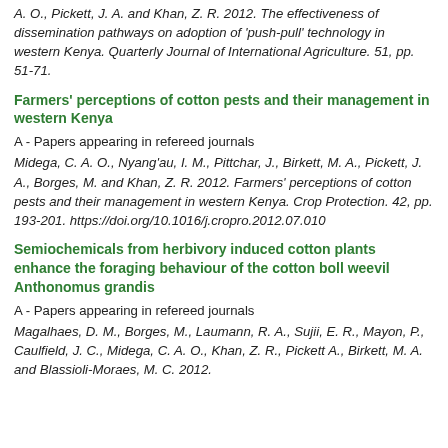A. O., Pickett, J. A. and Khan, Z. R. 2012. The effectiveness of dissemination pathways on adoption of 'push-pull' technology in western Kenya. Quarterly Journal of International Agriculture. 51, pp. 51-71.
Farmers' perceptions of cotton pests and their management in western Kenya
A - Papers appearing in refereed journals
Midega, C. A. O., Nyang'au, I. M., Pittchar, J., Birkett, M. A., Pickett, J. A., Borges, M. and Khan, Z. R. 2012. Farmers' perceptions of cotton pests and their management in western Kenya. Crop Protection. 42, pp. 193-201. https://doi.org/10.1016/j.cropro.2012.07.010
Semiochemicals from herbivory induced cotton plants enhance the foraging behaviour of the cotton boll weevil Anthonomus grandis
A - Papers appearing in refereed journals
Magalhaes, D. M., Borges, M., Laumann, R. A., Sujii, E. R., Mayon, P., Caulfield, J. C., Midega, C. A. O., Khan, Z. R., Pickett, A., Birkett, M. A. and Blassioli-Moraes, M. C. 2012.